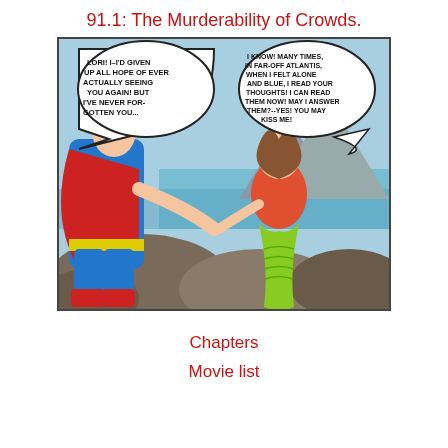91.1: The Murderability of Crowds.
[Figure (illustration): Vintage comic book panel showing Superman (in blue costume with red cape) kneeling toward a mermaid woman (Lori, in orange top with green fish tail) sitting on rocks near the ocean. Two speech bubbles: left bubble reads 'LORI! I-I'D GIVEN UP ALL HOPE OF EVER ACTUALLY SEEING YOU AGAIN! BUT I'VE NEVER FOR-GOTTEN YOU...' and right bubble reads 'I KNOW! MANY TIMES, IN FAR-OFF ATLANTIS, WHEN I FELT ALONE AND BLUE, I READ YOUR THOUGHTS! I CAN READ THEM NOW! MAY I ANSWER THEM?--YES! YOU MAY KISS ME!']
Chapters
Movie list